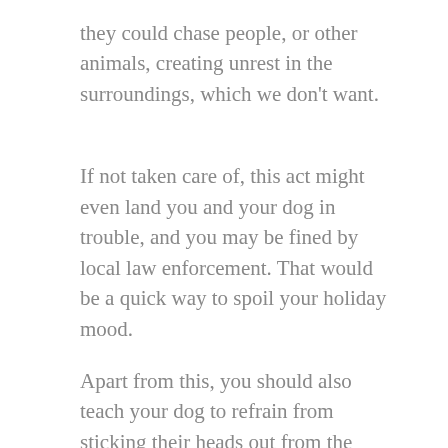they could chase people, or other animals, creating unrest in the surroundings, which we don't want.
If not taken care of, this act might even land you and your dog in trouble, and you may be fined by local law enforcement. That would be a quick way to spoil your holiday mood.
Apart from this, you should also teach your dog to refrain from sticking their heads out from the windows of your car. This could cause them serious injury and can cost you a fortune in medical expenses.